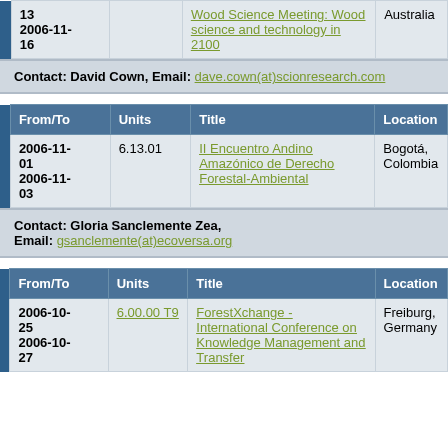|  | From/To | Units | Title | Location |
| --- | --- | --- | --- | --- |
|  | 13
2006-11-16 |  | Wood Science Meeting: Wood science and technology in 2100 | Australia |
Contact: David Cown, Email: dave.cown(at)scionresearch.com
|  | From/To | Units | Title | Location |
| --- | --- | --- | --- | --- |
|  | 2006-11-01
2006-11-03 | 6.13.01 | II Encuentro Andino Amazónico de Derecho Forestal-Ambiental | Bogotá, Colombia |
Contact: Gloria Sanclemente Zea, Email: gsanclemente(at)ecoversa.org
|  | From/To | Units | Title | Location |
| --- | --- | --- | --- | --- |
|  | 2006-10-25
2006-10-27 | 6.00.00 T9 | ForestXchange - International Conference on Knowledge Management and Transfer | Freiburg, Germany |